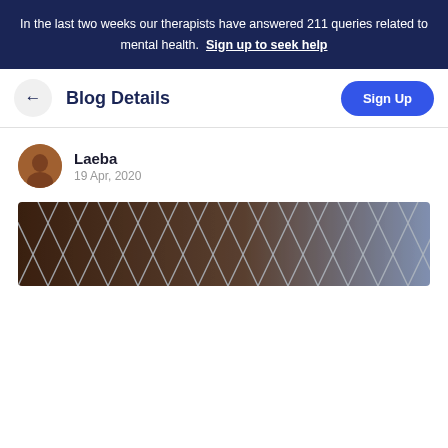In the last two weeks our therapists have answered 211 queries related to mental health. Sign up to seek help
Blog Details
Laeba
19 Apr, 2020
[Figure (photo): A chain-link fence photo shown as the blog header image, with a blurred background in dark and blue tones.]